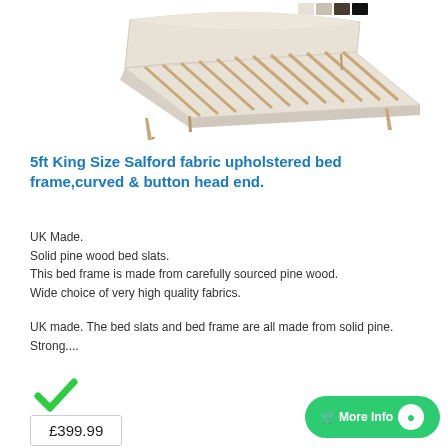[Figure (photo): Cream/beige fabric upholstered king size bed frame with curved tufted headboard and solid pine wood legs, shown at an angle from above with visible wooden slats. Small color swatch thumbnails visible in top right corner.]
5ft King Size Salford fabric upholstered bed frame,curved & button head end.
UK Made.
Solid pine wood bed slats.
This bed frame is made from carefully sourced pine wood.
Wide choice of very high quality fabrics.
UK made. The bed slats and bed frame are all made from solid pine. Strong....
[Figure (illustration): Green checkmark tick icon indicating in stock status]
IN STOCK
10 - 14 Days
£399.99
More Info